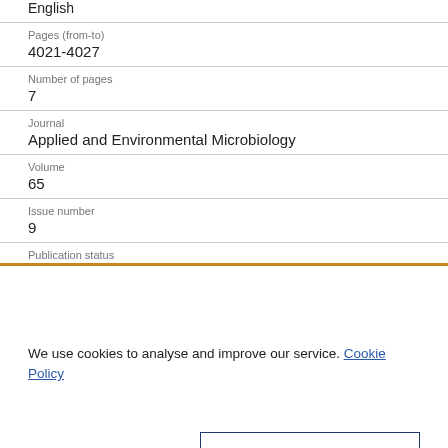English
Pages (from-to)
4021-4027
Number of pages
7
Journal
Applied and Environmental Microbiology
Volume
65
Issue number
9
Publication status
We use cookies to analyse and improve our service. Cookie Policy